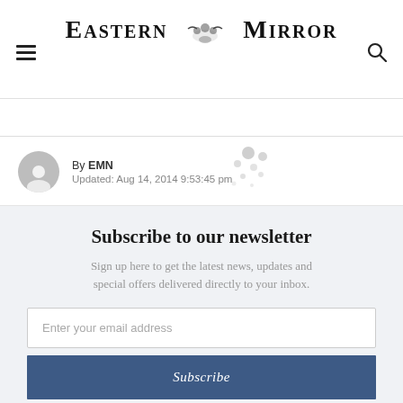Eastern Mirror
By EMN
Updated: Aug 14, 2014 9:53:45 pm
Subscribe to our newsletter
Sign up here to get the latest news, updates and special offers delivered directly to your inbox.
Enter your email address
Subscribe